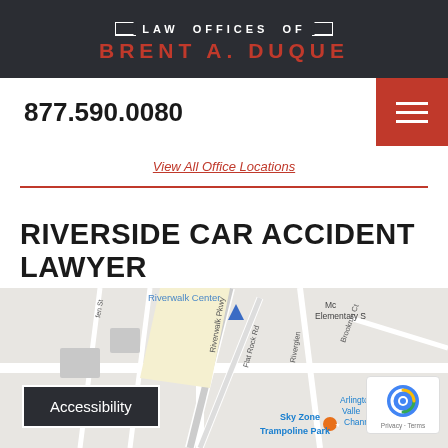LAW OFFICES OF BRENT A. DUQUE
877.590.0080
View All Office Locations
RIVERSIDE CAR ACCIDENT LAWYER
[Figure (map): Google Maps screenshot showing the area around Riverwalk Pkwy, Flat Rock Rd, Riverside CA, with Sky Zone Trampoline Park, Arlington Valley Channel, Riverglen, Brookrun Ct visible. Blue location pin marker present. Accessibility button overlay and reCAPTCHA badge visible.]